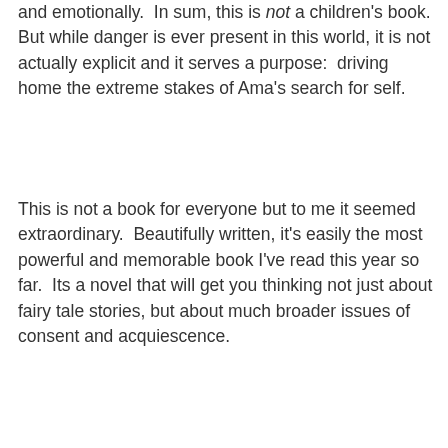and emotionally. In sum, this is not a children's book. But while danger is ever present in this world, it is not actually explicit and it serves a purpose: driving home the extreme stakes of Ama's search for self.
This is not a book for everyone but to me it seemed extraordinary. Beautifully written, it's easily the most powerful and memorable book I've read this year so far. Its a novel that will get you thinking not just about fairy tale stories, but about much broader issues of consent and acquiescence.
Paul at 3:53 PM    No comments:
Friday, April 19, 2019
A Sky for Us Alone, by Kristin Russell
[Figure (photo): Book cover image with dark red and black imagery, partially visible]